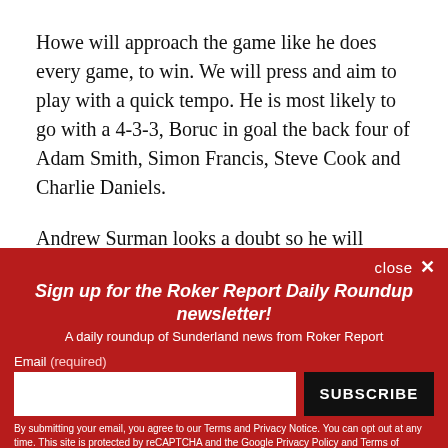Howe will approach the game like he does every game, to win. We will press and aim to play with a quick tempo. He is most likely to go with a 4-3-3, Boruc in goal the back four of Adam Smith, Simon Francis, Steve Cook and Charlie Daniels.
Andrew Surman looks a doubt so he will either be
[Figure (screenshot): Newsletter signup overlay on a red background. Title: 'Sign up for the Roker Report Daily Roundup newsletter!' Subtitle: 'A daily roundup of Sunderland news from Roker Report'. Email input field with SUBSCRIBE button. Disclaimer text about Terms and Privacy Notice, reCAPTCHA, Google Privacy Policy and Terms of Service.]